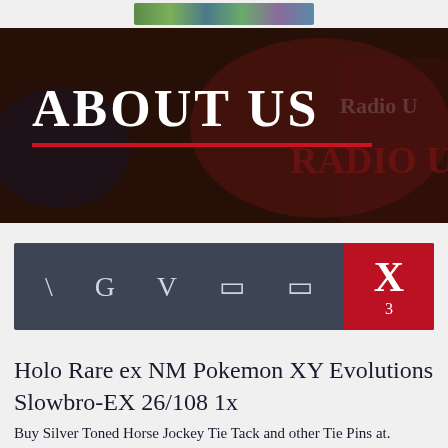[Figure (illustration): Colorful banner/logo image at the top of the page]
[Figure (photo): Dark background hero image with Radio U signage and vintage posters, overlaid with large white serif text ABOUT US and a red horizontal underline]
ABOUT US
[Figure (screenshot): Dark gray navigation bar with icons: backslash, G, V, two square icons, and an X with subscript 3 in a red box]
Holo Rare ex NM Pokemon XY Evolutions Slowbro-EX 26/108 1x
Buy Silver Toned Horse Jockey Tie Tack and other Tie Pins at.